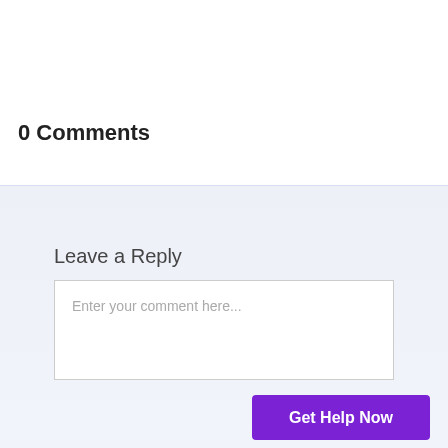0 Comments
Leave a Reply
Enter your comment here...
Get Help Now